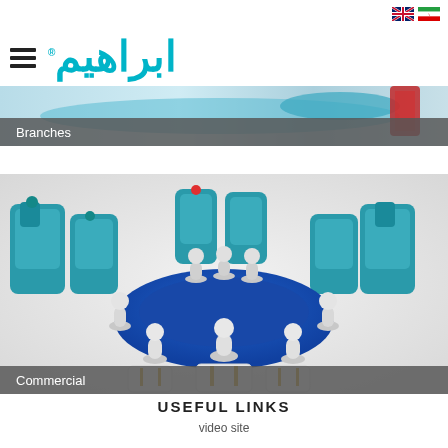[Figure (screenshot): Website header with two flag icons (UK and Iran) for language selection in top right corner]
[Figure (logo): Ibrahim brand logo: hamburger menu icon on the left, Arabic/Persian brand name in teal color]
[Figure (photo): Partial photo of cleaning machines with blue and red elements visible at top]
Branches
[Figure (photo): 3D rendered image of white figurines sitting around a large blue round table in a meeting, with teal industrial cleaning machines arranged behind them]
Commercial
USEFUL LINKS
video site